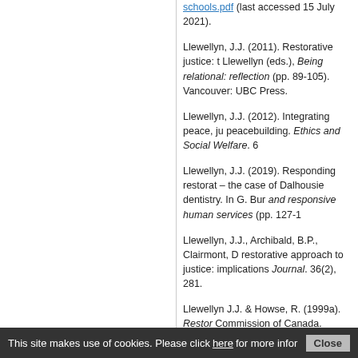schools.pdf (last accessed 15 July 2021).
Llewellyn, J.J. (2011). Restorative justice: t... Llewellyn (eds.), Being relational: reflection... (pp. 89-105). Vancouver: UBC Press.
Llewellyn, J.J. (2012). Integrating peace, ju... peacebuilding. Ethics and Social Welfare. 6...
Llewellyn, J.J. (2019). Responding restorat... – the case of Dalhousie dentistry. In G. Bur... and responsive human services (pp. 127-1...
Llewellyn, J.J., Archibald, B.P., Clairmont, D... restorative approach to justice: implications... Journal. 36(2), 281.
Llewellyn J.J. & Howse, R. (1999a). Restor... Commission of Canada. Retrieved from http... 22 August 2021).
Llewellyn, J.J. & Howse, R. (1999b). Institu... Reconciliation Commission. University of T...
Llewellyn, J.J. & Llewellyn, K. (2020). A res... COVID-19, Policy Options. Retrieved from...
This site makes use of cookies. Please click here for more infor... Close